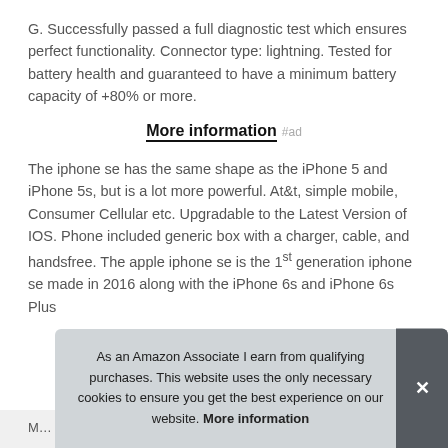G. Successfully passed a full diagnostic test which ensures perfect functionality. Connector type: lightning. Tested for battery health and guaranteed to have a minimum battery capacity of +80% or more.
More information #ad
The iphone se has the same shape as the iPhone 5 and iPhone 5s, but is a lot more powerful. At&t, simple mobile, Consumer Cellular etc. Upgradable to the Latest Version of IOS. Phone included generic box with a charger, cable, and handsfree. The apple iphone se is the 1st generation iphone se made in 2016 along with the iPhone 6s and iPhone 6s Plus
As an Amazon Associate I earn from qualifying purchases. This website uses the only necessary cookies to ensure you get the best experience on our website. More information